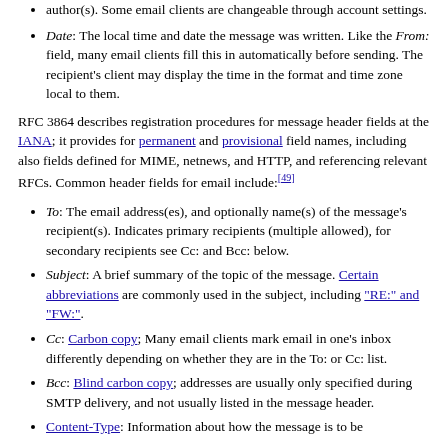author(s). Some email clients are changeable through account settings.
Date: The local time and date the message was written. Like the From: field, many email clients fill this in automatically before sending. The recipient's client may display the time in the format and time zone local to them.
RFC 3864 describes registration procedures for message header fields at the IANA; it provides for permanent and provisional field names, including also fields defined for MIME, netnews, and HTTP, and referencing relevant RFCs. Common header fields for email include:[49]
To: The email address(es), and optionally name(s) of the message's recipient(s). Indicates primary recipients (multiple allowed), for secondary recipients see Cc: and Bcc: below.
Subject: A brief summary of the topic of the message. Certain abbreviations are commonly used in the subject, including "RE:" and "FW:".
Cc: Carbon copy; Many email clients mark email in one's inbox differently depending on whether they are in the To: or Cc: list.
Bcc: Blind carbon copy; addresses are usually only specified during SMTP delivery, and not usually listed in the message header.
Content-Type: Information about how the message is to be